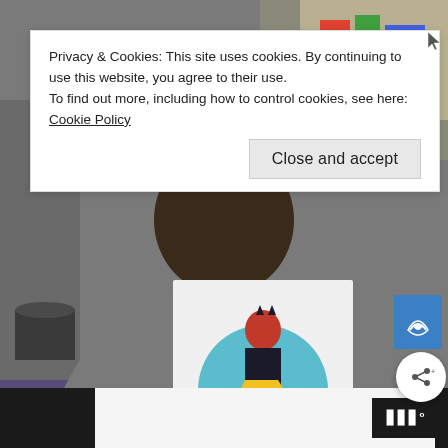[Figure (photo): A person at a convention holding up a signed Batgirl comic art print. The artwork shows Batgirl in a black costume with yellow boots and cape, red hair, against a teal circular background. The person is wearing a gray t-shirt and a purple/green lanyard. Background shows convention tables with items.]
Privacy & Cookies: This site uses cookies. By continuing to use this website, you agree to their use.
To find out more, including how to control cookies, see here: Cookie Policy
Close and accept